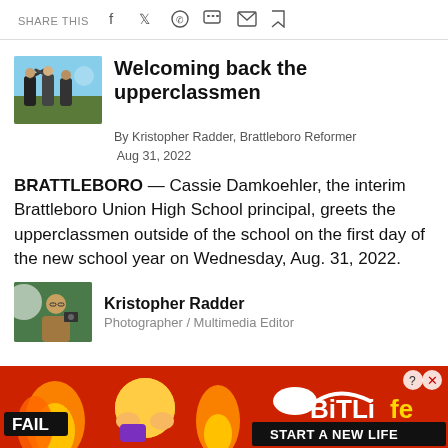SHARE THIS
[Figure (photo): Thumbnail photo of students high-fiving outdoors]
Welcoming back the upperclassmen
By Kristopher Radder, Brattleboro Reformer
Aug 31, 2022
BRATTLEBORO — Cassie Damkoehler, the interim Brattleboro Union High School principal, greets the upperclassmen outside of the school on the first day of the new school year on Wednesday, Aug. 31, 2022.
[Figure (photo): Portrait photo of Kristopher Radder, Photographer / Multimedia Editor]
Kristopher Radder
Photographer / Multimedia Editor
[Figure (other): BitLife advertisement banner: FAIL emoji, flame, START A NEW LIFE]